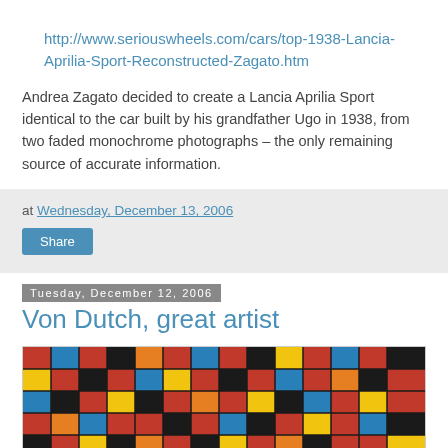http://www.seriouswheels.com/cars/top-1938-Lancia-Aprilia-Sport-Reconstructed-Zagato.htm
Andrea Zagato decided to create a Lancia Aprilia Sport identical to the car built by his grandfather Ugo in 1938, from two faded monochrome photographs – the only remaining source of accurate information.
at Wednesday, December 13, 2006
Share
Tuesday, December 12, 2006
Von Dutch, great artist
[Figure (photo): Colorful geometric patchwork pattern artwork, predominantly red, blue, yellow, and black squares, with a partial circular arc visible at the bottom center.]